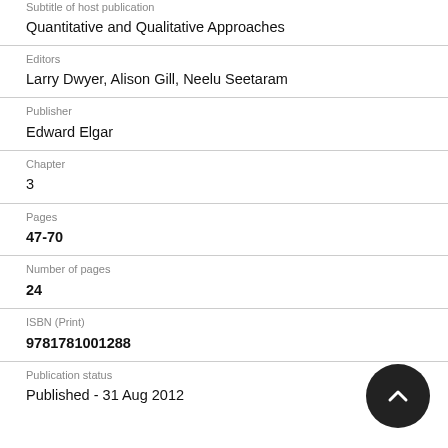Subtitle of host publication
Quantitative and Qualitative Approaches
Editors
Larry Dwyer, Alison Gill, Neelu Seetaram
Publisher
Edward Elgar
Chapter
3
Pages
47-70
Number of pages
24
ISBN (Print)
9781781001288
Publication status
Published - 31 Aug 2012